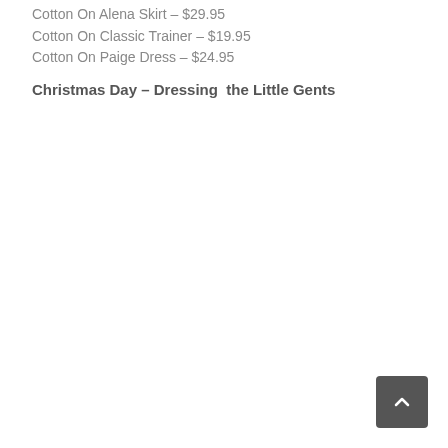Cotton On Alena Skirt – $29.95
Cotton On Classic Trainer – $19.95
Cotton On Paige Dress – $24.95
Christmas Day – Dressing  the Little Gents
[Figure (other): Back to top button arrow pointing upward, dark grey square with rounded corners]